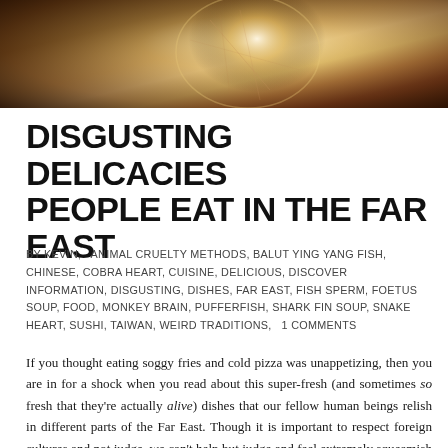[Figure (photo): Close-up photograph of what appears to be a balut egg or similar food item, with dark and light tones, showing organic textures against a bright background.]
DISGUSTING DELICACIES PEOPLE EAT IN THE FAR EAST
BY KEVIN,   ANIMAL CRUELTY METHODS, BALUT YING YANG FISH, CHINESE, COBRA HEART, CUISINE, DELICIOUS, DISCOVER INFORMATION, DISGUSTING, DISHES, FAR EAST, FISH SPERM, FOETUS SOUP, FOOD, MONKEY BRAIN, PUFFERFISH, SHARK FIN SOUP, SNAKE HEART, SUSHI, TAIWAN, WEIRD TRADITIONS,   1 COMMENTS
If you thought eating soggy fries and cold pizza was unappetizing, then you are in for a shock when you read about this super-fresh (and sometimes so fresh that they're actually alive) dishes that our fellow human beings relish in different parts of the Far East. Though it is important to respect foreign cultures and not judge, we can't help but judge and feel extremely squeamish when we come across these